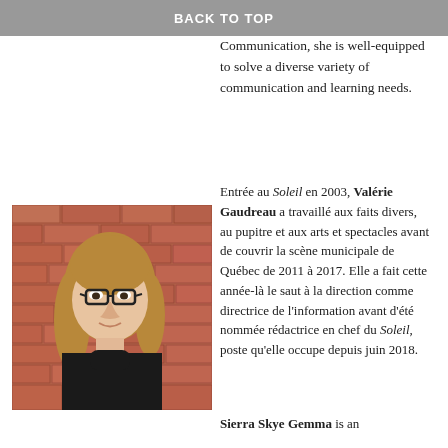BACK TO TOP
Communication, she is well-equipped to solve a diverse variety of communication and learning needs.
[Figure (photo): Headshot of Valérie Gaudreau, a woman with long hair and glasses, seated in front of a red brick wall, wearing a black turtleneck.]
Entrée au Soleil en 2003, Valérie Gaudreau a travaillé aux faits divers, au pupitre et aux arts et spectacles avant de couvrir la scène municipale de Québec de 2011 à 2017. Elle a fait cette année-là le saut à la direction comme directrice de l'information avant d'été nommée rédactrice en chef du Soleil, poste qu'elle occupe depuis juin 2018.
Sierra Skye Gemma is an